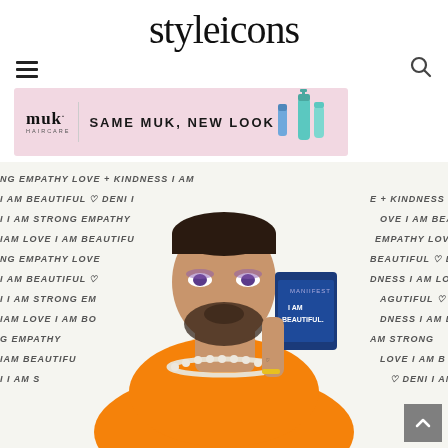styleicons
[Figure (logo): styleicons magazine logo in large serif/thin font]
[Figure (infographic): Navigation bar with hamburger menu icon on left and search icon on right]
[Figure (illustration): muk. haircare advertisement banner: pink background, 'muk. HAIRCARE' logo on left, text 'SAME MUK, NEW LOOK' in centre, product bottles on right]
[Figure (photo): Person with beard wearing orange off-shoulder top and pearl necklace, holding a blue 'I AM BEAUTIFUL' product box, posing in front of a white background covered in handwritten affirmation text including 'EMPATHY', 'LOVE', 'KINDNESS', 'I AM BEAUTIFUL', 'I AM STRONG', 'DENI'. A grey scroll-to-top button with white chevron is visible in the bottom right corner.]